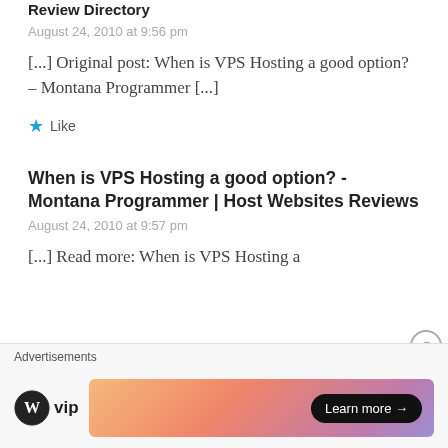Review Directory
August 24, 2010 at 9:56 pm
[...] Original post: When is VPS Hosting a good option? – Montana Programmer [...]
★ Like
When is VPS Hosting a good option? - Montana Programmer | Host Websites Reviews
August 24, 2010 at 9:57 pm
[...] Read more: When is VPS Hosting a
Advertisements